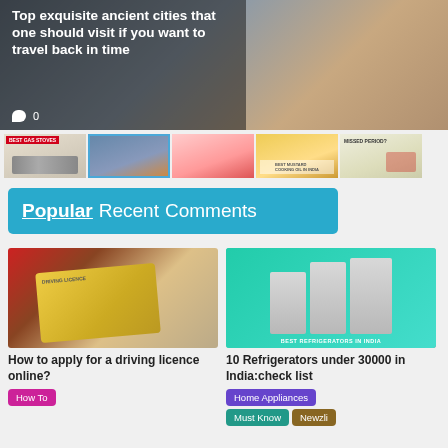[Figure (photo): Hero image of ancient city with overlay text]
Top exquisite ancient cities that one should visit if you want to travel back in time
[Figure (photo): Thumbnail strip with 5 article images]
Popular Recent Comments
[Figure (photo): Driving licence card held in hand]
How to apply for a driving licence online?
How To
[Figure (photo): Best refrigerators in India product image on teal background]
10 Refrigerators under 30000 in India:check list
Home Appliances
Must Know
Newzli